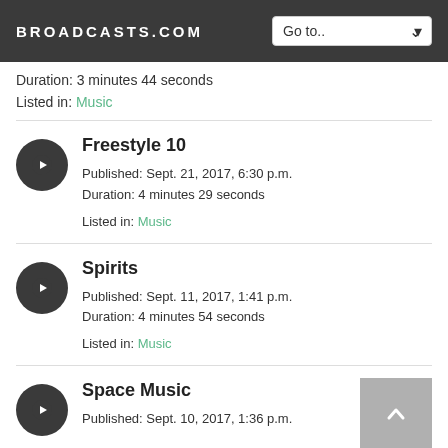BROADCASTS.COM
Duration: 3 minutes 44 seconds
Listed in: Music
Freestyle 10
Published: Sept. 21, 2017, 6:30 p.m.
Duration: 4 minutes 29 seconds
Listed in: Music
Spirits
Published: Sept. 11, 2017, 1:41 p.m.
Duration: 4 minutes 54 seconds
Listed in: Music
Space Music
Published: Sept. 10, 2017, 1:36 p.m.